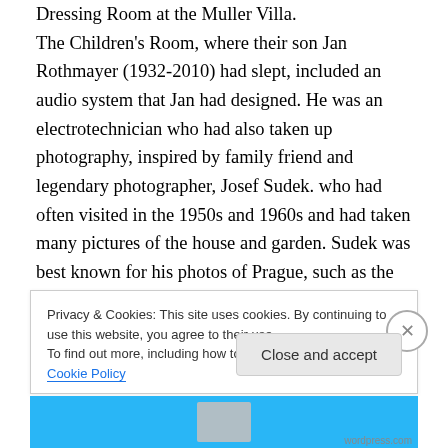Dressing Room at the Muller Villa. The Children's Room, where their son Jan Rothmayer (1932-2010) had slept, included an audio system that Jan had designed. He was an electrotechnician who had also taken up photography, inspired by family friend and legendary photographer, Josef Sudek. who had often visited in the 1950s and 1960s and had taken many pictures of the house and garden. Sudek was best known for his photos of Prague, such as the interior of St. Vitus Cathedral and panoramas of city. His style could be described as neo-romantic. Sudek was able to take such
Privacy & Cookies: This site uses cookies. By continuing to use this website, you agree to their use.
To find out more, including how to control cookies, see here: Cookie Policy
Close and accept